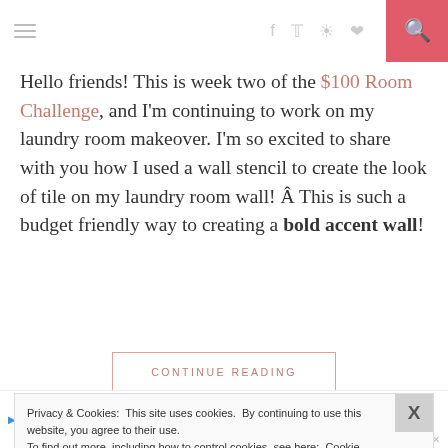Navigation bar with hamburger menu and social/search icons
Hello friends! This is week two of the $100 Room Challenge, and I'm continuing to work on my laundry room makeover. I'm so excited to share with you how I used a wall stencil to create the look of tile on my laundry room wall! Â This is such a budget friendly way to creating a bold accent wall!
CONTINUE READING
September 12, 2018 by Leslea
Privacy & Cookies: This site uses cookies. By continuing to use this website, you agree to their use. To find out more, including how to control cookies, see here: Cookie Policy
[Figure (infographic): Petco advertisement banner: Your Pet's Summer Essentials]